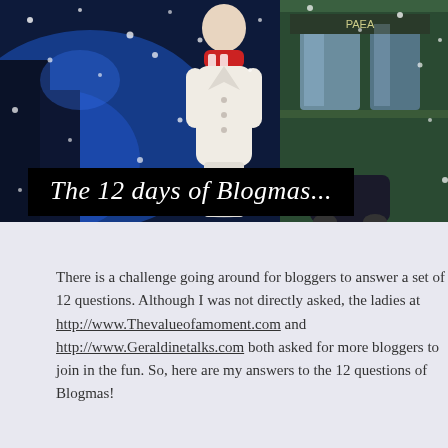[Figure (photo): A person wearing a white coat and red scarf standing in a snowy street scene with a storefront in the background at night, with snowflakes visible.]
The 12 days of Blogmas...
There is a challenge going around for bloggers to answer a set of 12 questions. Although I was not directly asked, the ladies at http://www.Thevalueofamoment.com and http://www.Geraldinetalks.com both asked for more bloggers to join in the fun. So, here are my answers to the 12 questions of Blogmas!
1. When are you starting up the Christmas music?
I love Christmas so much, I will sometimes have a moment in summer where I begin playing it, but generally around Thanksgiving time is when I begin. Yes, I already began listening in